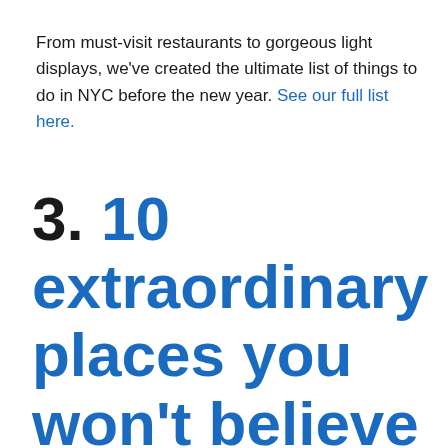From must-visit restaurants to gorgeous light displays, we've created the ultimate list of things to do in NYC before the new year. See our full list here.
3. 10 extraordinary places you won't believe are in New York City